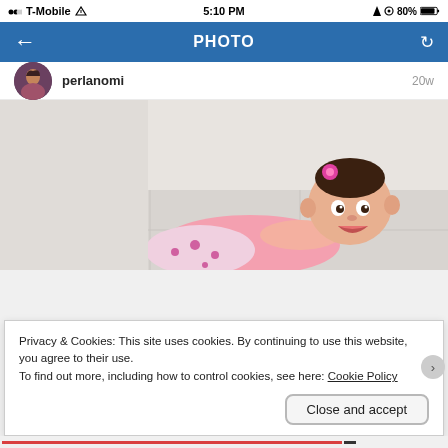[Figure (screenshot): Mobile phone status bar showing T-Mobile carrier, 5:10 PM time, and 80% battery]
PHOTO
perlanomi  20w
[Figure (photo): Photo of a baby girl in pink clothing with a pink flower in her hair, lying on a light-colored floor, looking at camera with mouth open]
Privacy & Cookies: This site uses cookies. By continuing to use this website, you agree to their use.
To find out more, including how to control cookies, see here: Cookie Policy
Close and accept